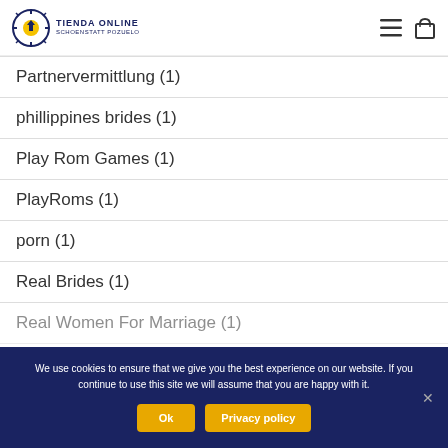TIENDA ONLINE SCHOENSTATT POZUELO
Partnervermittlung (1)
phillippines brides (1)
Play Rom Games (1)
PlayRoms (1)
porn (1)
Real Brides (1)
Real Women For Marriage (1)
We use cookies to ensure that we give you the best experience on our website. If you continue to use this site we will assume that you are happy with it.